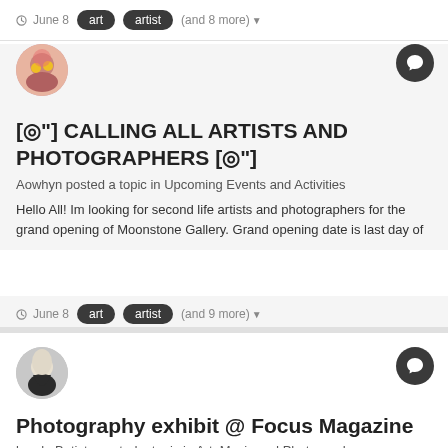June 8  art  artist  (and 8 more)
[Figure (photo): Circular avatar of a pink-haired person with sunglasses]
[◎"] CALLING ALL ARTISTS AND PHOTOGRAPHERS [◎"]
Aowhyn posted a topic in Upcoming Events and Activities
Hello All! Im looking for second life artists and photographers for the grand opening of Moonstone Gallery. Grand opening date is last day of
June 8  art  artist  (and 9 more)
[Figure (photo): Circular avatar of a woman with long blonde hair]
Photography exhibit @ Focus Magazine
karole Batista posted a topic in Art, Music and Photography